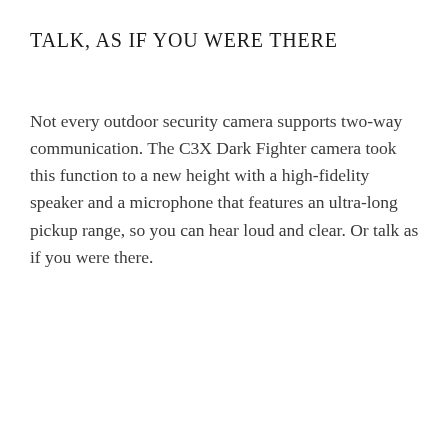TALK, AS IF YOU WERE THERE
Not every outdoor security camera supports two-way communication. The C3X Dark Fighter camera took this function to a new height with a high-fidelity speaker and a microphone that features an ultra-long pickup range, so you can hear loud and clear. Or talk as if you were there.